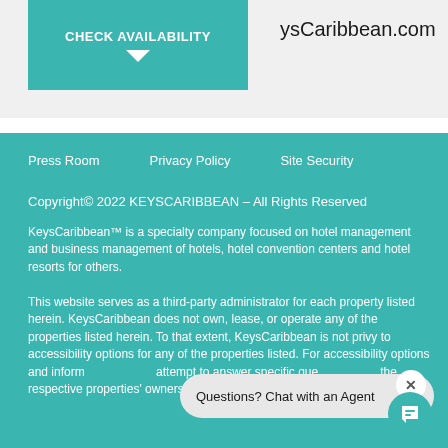[Figure (screenshot): Teal 'CHECK AVAILABILITY' button with downward arrow]
ysCaribbean.com
Press Room
Privacy Policy
Site Security
Copyright© 2022 KEYSCARIBBEAN – All Rights Reserved
KeysCaribbean™ is a specialty company focused on hotel management and business management of hotels, hotel convention centers and hotel resorts for others.
This website serves as a third-party administrator for each property listed herein. KeysCaribbean does not own, lease, or operate any of the properties listed herein. To that extent, KeysCaribbean is not privy to accessibility options for any of the properties listed. For accessibility options and inform attempt to answer specific que the respective properties' owners.
Questions? Chat with an Agent